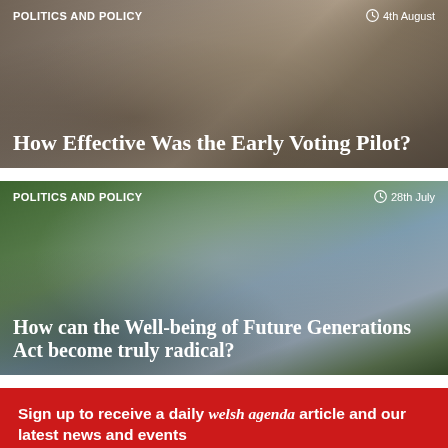[Figure (photo): Close-up of hands holding an envelope or ballot paper, suggesting voting or mail-in ballot scene]
POLITICS AND POLICY
4th August
How Effective Was the Early Voting Pilot?
[Figure (photo): Outdoor scene with green trees, cloudy sky, and a group of people standing near a railing in a park or countryside setting]
POLITICS AND POLICY
28th July
How can the Well-being of Future Generations Act become truly radical?
Sign up to receive a daily welsh agenda article and our latest news and events